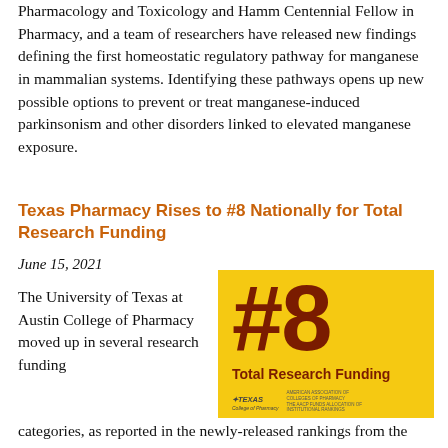Pharmacology and Toxicology and Hamm Centennial Fellow in Pharmacy, and a team of researchers have released new findings defining the first homeostatic regulatory pathway for manganese in mammalian systems. Identifying these pathways opens up new possible options to prevent or treat manganese-induced parkinsonism and other disorders linked to elevated manganese exposure.
Texas Pharmacy Rises to #8 Nationally for Total Research Funding
June 15, 2021
The University of Texas at Austin College of Pharmacy moved up in several research funding categories, as reported in the newly-released rankings from the American Association of Colleges of Pharmacy (AACP). The college rose to #8 nationally in total research funding during the 2019-2020 fiscal year,
[Figure (infographic): Yellow background infographic showing #8 in large dark red text with 'Total Research Funding' label below, and logos for UT Texas College of Pharmacy and AACP at bottom.]